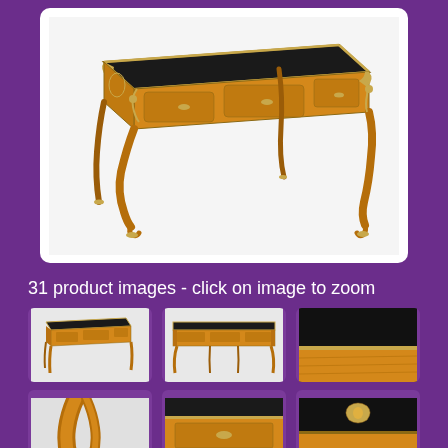[Figure (photo): Large antique Louis XV style bureau plat writing desk with marquetry veneer in orange/golden wood, black leather top, ornate gilt bronze ormolu mounts, and cabriole legs. Three drawers on the front frieze. Photographed on white background.]
31 product images - click on image to zoom
[Figure (photo): Thumbnail 1: Front three-quarter view of the antique desk]
[Figure (photo): Thumbnail 2: Front view of the antique desk]
[Figure (photo): Thumbnail 3: Close-up detail of the desk top corner showing black leather and wood marquetry]
[Figure (photo): Thumbnail 4: Close-up detail of desk leg or side]
[Figure (photo): Thumbnail 5: Close-up detail of desk interior or drawer]
[Figure (photo): Thumbnail 6: Close-up detail of desk hardware or mount]